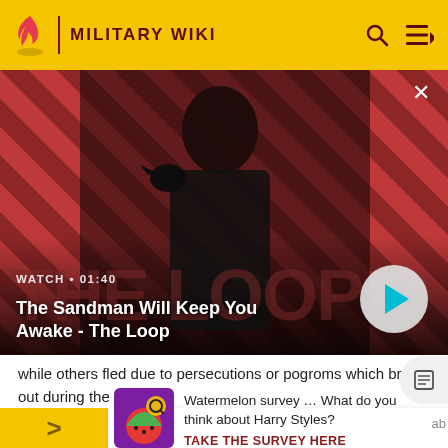MILITARY WIKI
[Figure (screenshot): Video banner showing The Sandman character with crow on red striped background. WATCH • 01:40. Title: The Sandman Will Keep You Awake - The Loop. Play button visible.]
while others fled due to persecutions or pogroms which broke out during the
[Figure (infographic): Watermelon survey popup with colorful image icon and text: Watermelon survey … What do you think about Harry Styles? TAKE THE SURVEY HERE]